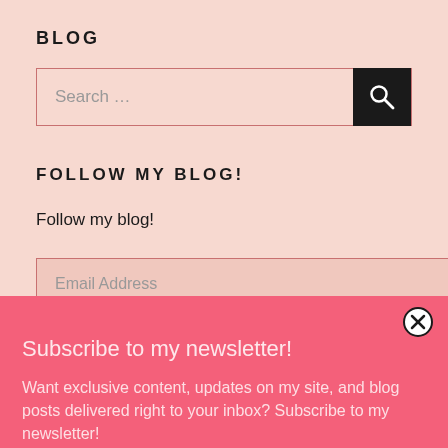BLOG
[Figure (other): Search bar with text 'Search ...' and a dark search button with magnifying glass icon]
FOLLOW MY BLOG!
Follow my blog!
[Figure (other): Email address input field with placeholder text 'Email Address']
Subscribe to my newsletter!
Want exclusive content, updates on my site, and blog posts delivered right to your inbox? Subscribe to my newsletter!